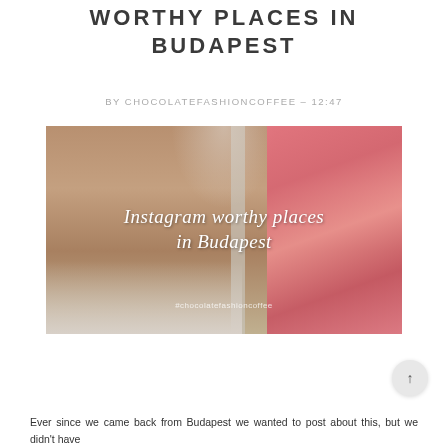WORTHY PLACES IN BUDAPEST
BY CHOCOLATEFASHIONCOFFEE – 12:47
[Figure (photo): A photo of a cafe or event venue in Budapest with a brick wall background, crystal chandelier, a large floral wall with pink flowers on the right, and white chairs in the foreground. Overlaid text reads 'Instagram worthy places in Budapest' and '#chocolatefashioncoffee'.]
Ever since we came back from Budapest we wanted to post about this, but we didn't have